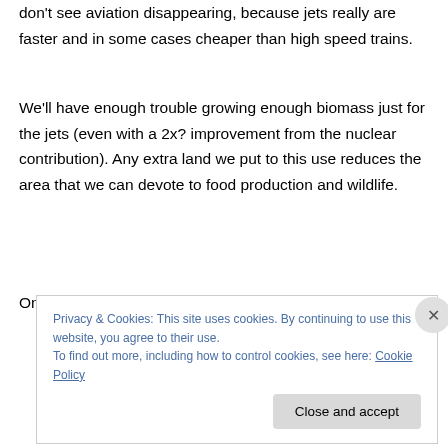don't see aviation disappearing, because jets really are faster and in some cases cheaper than high speed trains.
We'll have enough trouble growing enough biomass just for the jets (even with a 2x? improvement from the nuclear contribution). Any extra land we put to this use reduces the area that we can devote to food production and wildlife.
On top of that, it is not clear that synthetic
Privacy & Cookies: This site uses cookies. By continuing to use this website, you agree to their use.
To find out more, including how to control cookies, see here: Cookie Policy